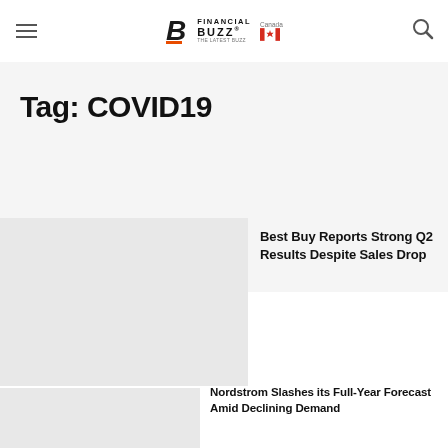Financial Buzz Canada
Tag: COVID19
[Figure (screenshot): Article thumbnail image for Best Buy article, gray placeholder]
Best Buy Reports Strong Q2 Results Despite Sales Drop
[Figure (screenshot): Article thumbnail image for Nordstrom article, gray placeholder]
Nordstrom Slashes its Full-Year Forecast Amid Declining Demand